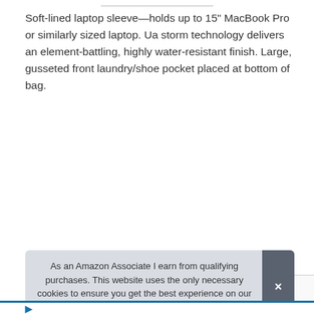Soft-lined laptop sleeve—holds up to 15" MacBook Pro or similarly sized laptop. Ua storm technology delivers an element-battling, highly water-resistant finish. Large, gusseted front laundry/shoe pocket placed at bottom of bag.
|  |  |
| --- | --- |
| Brand | Under Armour #ad |
| Manufacturer | Under Armour Bags #ad |
| Part Number | 1361176-600-One Size Fits All |
| Model | 1361176 |
As an Amazon Associate I earn from qualifying purchases. This website uses the only necessary cookies to ensure you get the best experience on our website. More information